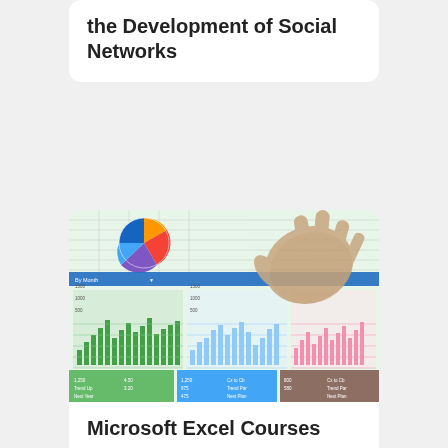the Development of Social Networks
[Figure (screenshot): Screenshot of Microsoft Excel spreadsheet showing multiple charts including a pie chart, green bar chart, blue bar chart, pink bar chart, and colored data tables. A hand is reaching toward the screen.]
Microsoft Excel Courses